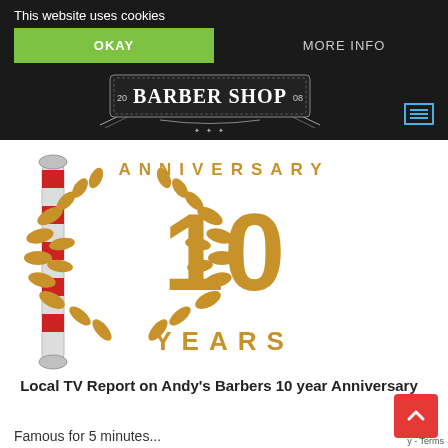This website uses cookies
OKAY
MORE INFO
[Figure (logo): Barber Shop logo with '2008' on either side of a shield-style badge reading 'BARBER SHOP' with decorative borders and scroll work]
[Figure (illustration): 10th Anniversary graphic with gold laurel wreath, large '10' numeral, text 'ANNIVERSARY' arching around the top, and 'YEARS' across the bottom on white background. A barber's pole graphic is visible on the left side.]
Local TV Report on Andy's Barbers 10 year Anniversary
Famous for 5 minutes...